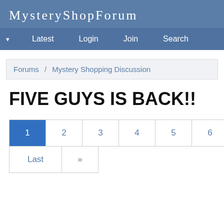MysteryShopForum
Latest  Login  Join  Search
Forums / Mystery Shopping Discussion
FIVE GUYS IS BACK!!
1 2 3 4 5 6 7 8 9 10 11 Last »